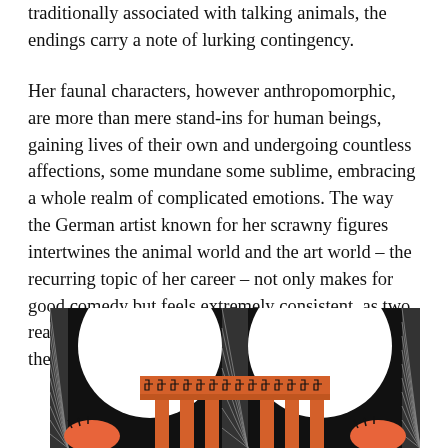traditionally associated with talking animals, the endings carry a note of lurking contingency.
Her faunal characters, however anthropomorphic, are more than mere stand-ins for human beings, gaining lives of their own and undergoing countless affections, some mundane some sublime, embracing a whole realm of complicated emotions. The way the German artist known for her scrawny figures intertwines the animal world and the art world – the recurring topic of her career – not only makes for good comedy but feels extremely consistent, as two realms populated by strange creatures who abide by their own natural laws finally merge into one.
[Figure (illustration): A stylized illustration in black, white, and orange/terracotta showing a Greek or antique-style architectural structure (like a temple or altar) with meander/Greek key pattern borders. White rounded shapes (possibly animals or figures) are visible on either side and around the structure, against a black background. Orange/coral colored forms appear at the lower corners.]